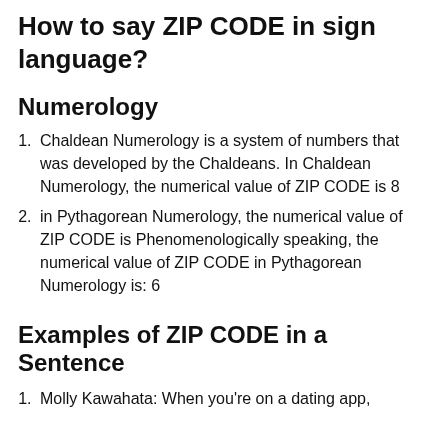How to say ZIP CODE in sign language?
Numerology
Chaldean Numerology is a system of numbers that was developed by the Chaldeans. In Chaldean Numerology, the numerical value of ZIP CODE is 8
in Pythagorean Numerology, the numerical value of ZIP CODE is Phenomenologically speaking, the numerical value of ZIP CODE in Pythagorean Numerology is: 6
Examples of ZIP CODE in a Sentence
Molly Kawahata: When you're on a dating app,